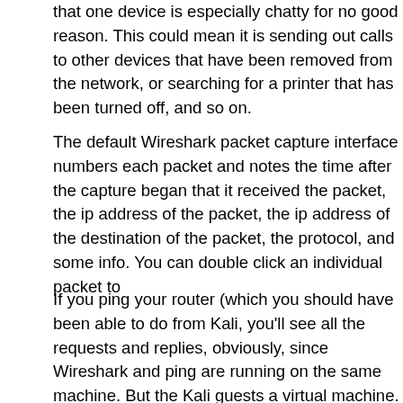that one device is especially chatty for no good reason. This could mean it is sending out calls to other devices that have been removed from the network, or it is searching for a printer that has been turned off, and so on.
The default Wireshark packet capture interface numbers each packet and notes the time after the capture began that it received the packet, the ip address of the packet, the ip address of the destination of the packet, the protocol, and some info. You can double click an individual packet to
If you ping your router (which you should have been able to do from Kali, you'll see all the requests and replies, obviously, since Wireshark and ping are running on the same machine. But the Kali guest is a virtual machine. If you enable promiscuous mode in the advanced settings for your Kali instance, when you ping your router from the host, the capture will similarly allow you to see all requests and replies on that interface! If you disable Promiscuous Mode, on this other hand, in this case, packets to and from the host computer will not be visible, as if it were a completely separate physical machine. Similarly, if you ping a completely external computer, you will not see the request/reply traffic at all, though you will see ARP if the requester does not already know the (hardware) address of the recipient.